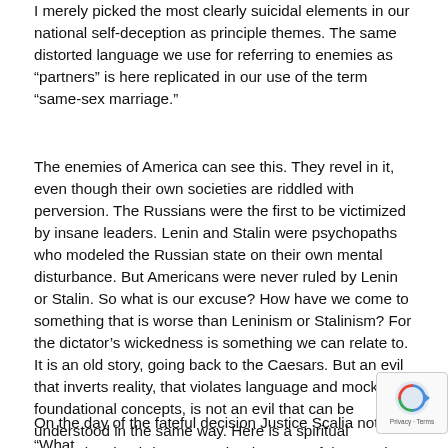I merely picked the most clearly suicidal elements in our national self-deception as principle themes. The same distorted language we use for referring to enemies as “partners” is here replicated in our use of the term “same-sex marriage.”
The enemies of America can see this. They revel in it, even though their own societies are riddled with perversion. The Russians were the first to be victimized by insane leaders. Lenin and Stalin were psychopaths who modeled the Russian state on their own mental disturbance. But Americans were never ruled by Lenin or Stalin. So what is our excuse? How have we come to something that is worse than Leninism or Stalinism? For the dictator’s wickedness is something we can relate to. It is an old story, going back to the Caesars. But an evil that inverts reality, that violates language and mocks foundational concepts, is not an evil that can be understood in the same way. Here is a spiritual perversion that brings us to the doorstep of the occult; to something unseen, to something connected with the black arts.
On the day of the fateful decision Justice Scalia noted: “What